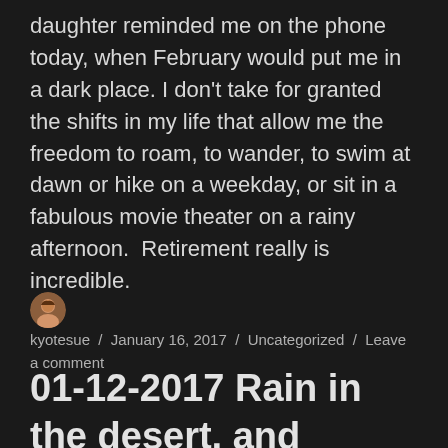daughter reminded me on the phone today, when February would put me in a dark place. I don't take for granted the shifts in my life that allow me the freedom to roam, to wander, to swim at dawn or hike on a weekday, or sit in a fabulous movie theater on a rainy afternoon.  Retirement really is incredible.
kyotesue / January 16, 2017 / Uncategorized / Leave a comment
01-12-2017 Rain in the desert, and another canyon hike